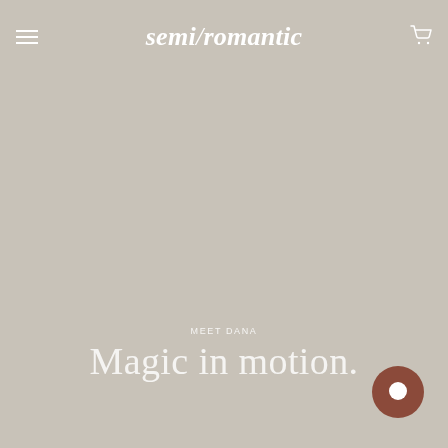SPEND €200 FOR FREE EU SHIPPING
semi/romantic
MEET DANA
Magic in motion.